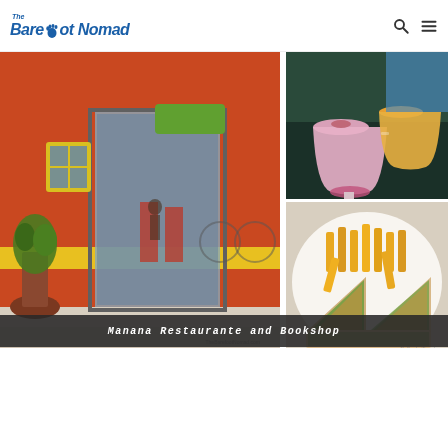The Barefoot Nomad
[Figure (photo): Composite of three photos: left large image shows the exterior of Manana Restaurante and Bookshop with red/orange walls, a glass sliding door, and a potted plant; top right shows pink milkshakes/drinks in tall glasses; bottom right shows a club sandwich with french fries on a white plate.]
Manana Restaurante and Bookshop